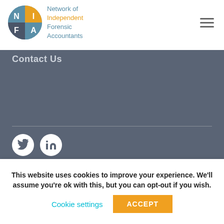[Figure (logo): NIFA logo — four-quadrant circle with N, I, F, A letters in teal/grey/gold, beside the text 'Network of Independent Forensic Accountants']
Contact Us
[Figure (infographic): Twitter and LinkedIn social media icons (white circles on dark background)]
In the opinion of its directors NIFA is neither a network nor a network firm within the meaning of the Code of Ethics of the
This website uses cookies to improve your experience. We'll assume you're ok with this, but you can opt-out if you wish.
Cookie settings
ACCEPT